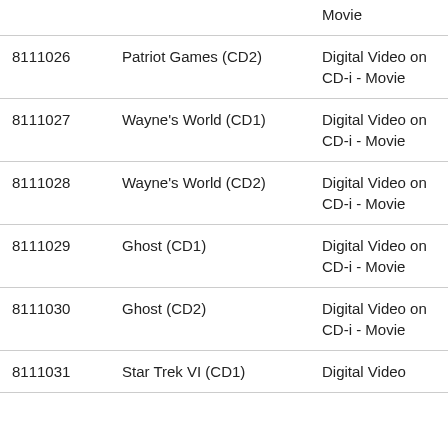|  |  | Movie |
| 8111026 | Patriot Games (CD2) | Digital Video on CD-i - Movie |
| 8111027 | Wayne's World (CD1) | Digital Video on CD-i - Movie |
| 8111028 | Wayne's World (CD2) | Digital Video on CD-i - Movie |
| 8111029 | Ghost (CD1) | Digital Video on CD-i - Movie |
| 8111030 | Ghost (CD2) | Digital Video on CD-i - Movie |
| 8111031 | Star Trek VI (CD1) | Digital Video |